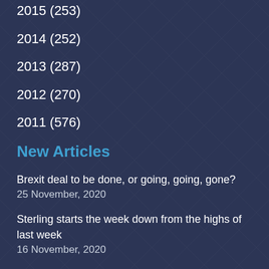2015 (253)
2014 (252)
2013 (287)
2012 (270)
2011 (576)
New Articles
Brexit deal to be done, or going, going, gone?
25 November, 2020
Sterling starts the week down from the highs of last week
16 November, 2020
Votes are in – albeit still being counted, will Donald trump Joe?